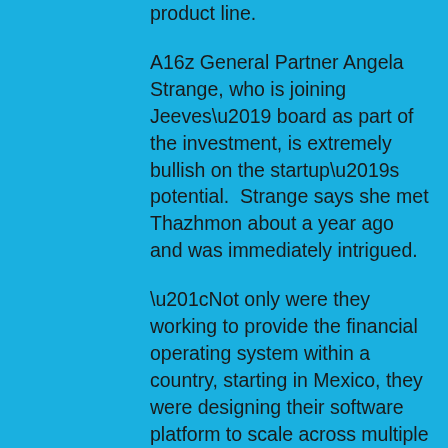product line.
A16z General Partner Angela Strange, who is joining Jeeves' board as part of the investment, is extremely bullish on the startup's potential.  Strange says she met Thazhmon about a year ago and was immediately intrigued.
“Not only were they working to provide the financial operating system within a country, starting in Mexico, they were designing their software platform to scale across multiple countries,” she said. “Finally — a multicountry/currency expense management & payouts platform, where increasingly companies have